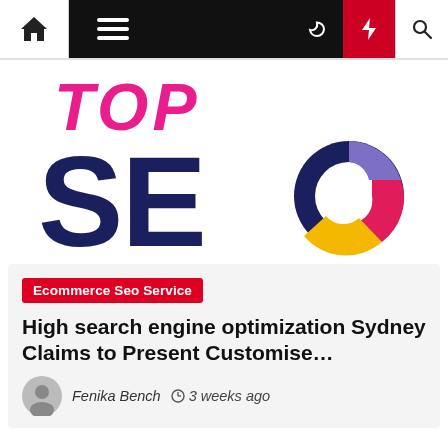Navigation bar with home, menu, moon, bolt, and search icons
[Figure (logo): TOP SEO logo — 'TOP' in bold pink italic text above large dark navy 'SEO' letters, with a colorful circular emblem replacing the 'O' in SEO featuring purple, pink/red, and yellow/gold segments]
Ecommerce Seo Service
High search engine optimization Sydney Claims to Present Customise…
Fenika Bench  ⊙ 3 weeks ago